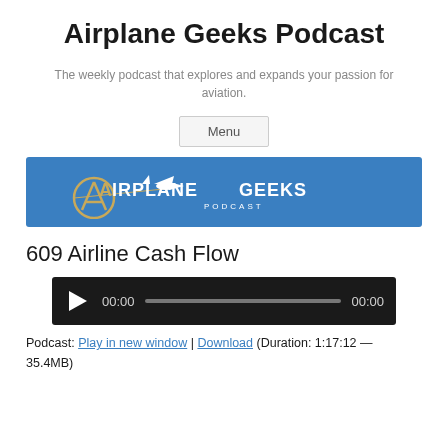Airplane Geeks Podcast
The weekly podcast that explores and expands your passion for aviation.
Menu
[Figure (logo): Airplane Geeks Podcast logo on blue banner background with airplane silhouette and orange/white text]
609 Airline Cash Flow
[Figure (other): Audio player with play button, 00:00 timestamps and progress bar on dark background]
Podcast: Play in new window | Download (Duration: 1:17:12 — 35.4MB)